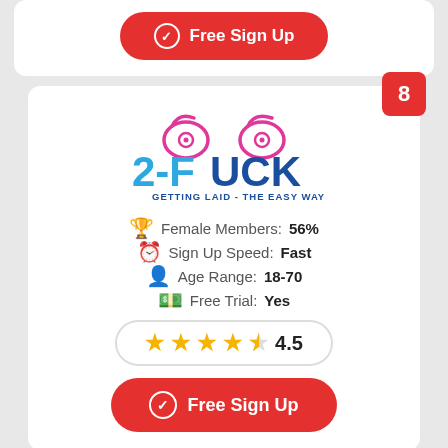[Figure (other): Top card with red Free Sign Up button (partially visible)]
Free Sign Up
8
[Figure (logo): 2-FUCK logo with pink breast icons above, blue bold text '2-FUCK', subtitle 'GETTING LAID - THE EASY WAY']
Female Members: 56%
Sign Up Speed: Fast
Age Range: 18-70
Free Trial: Yes
4.5
Free Sign Up
[Figure (other): Bottom partial card with red circle badge showing 9 and partial red button visible]